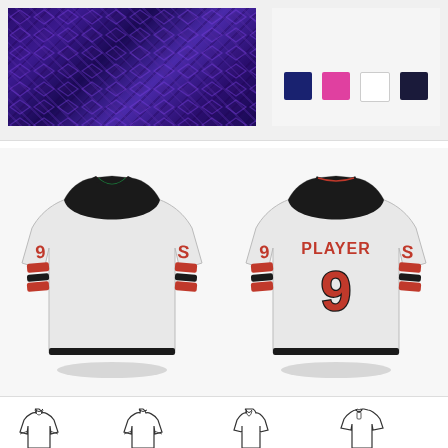[Figure (illustration): Jersey design sheet: top section shows a purple diamond-plate textured fabric swatch on the left, and color swatches (navy, pink, white, dark navy) on the right. Middle section shows front and back views of a white hockey jersey with black shoulders, red and black sleeve stripes, number 9 on the back, and PLAYER name. Bottom section shows four wireframe/outline jersey template sketches.]